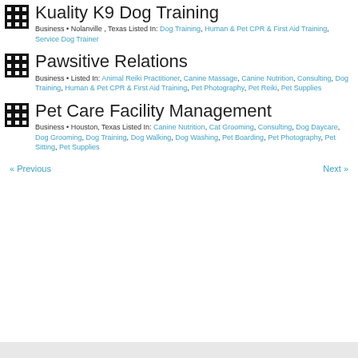Kuality K9 Dog Training
Business • Nolanville , Texas Listed In: Dog Training, Human & Pet CPR & First Aid Training, Service Dog Trainer
Pawsitive Relations
Business • Listed In: Animal Reiki Practitioner, Canine Massage, Canine Nutrition, Consulting, Dog Training, Human & Pet CPR & First Aid Training, Pet Photography, Pet Reiki, Pet Supplies
Pet Care Facility Management
Business • Houston, Texas Listed In: Canine Nutrition, Cat Grooming, Consulting, Dog Daycare, Dog Grooming, Dog Training, Dog Walking, Dog Washing, Pet Boarding, Pet Photography, Pet Sitting, Pet Supplies
« Previous   Next »